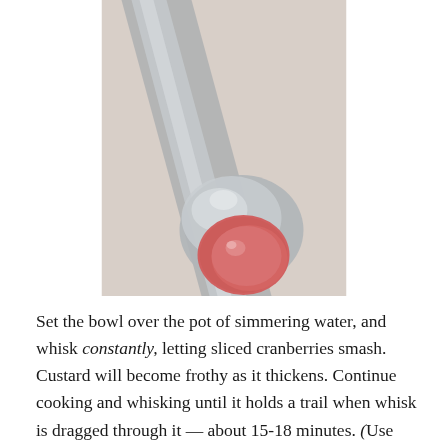[Figure (photo): Close-up photograph of a metal spoon with a mound of pinkish-red cranberry custard sitting on the bowl of the spoon, against a light beige background.]
Set the bowl over the pot of simmering water, and whisk constantly, letting sliced cranberries smash. Custard will become frothy as it thickens. Continue cooking and whisking until it holds a trail when whisk is dragged through it — about 15-18 minutes. (Use caution